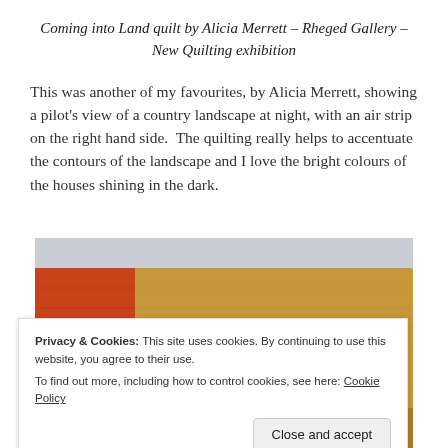Coming into Land quilt by Alicia Merrett – Rheged Gallery – New Quilting exhibition
This was another of my favourites, by Alicia Merrett, showing a pilot's view of a country landscape at night, with an air strip on the right hand side.  The quilting really helps to accentuate the contours of the landscape and I love the bright colours of the houses shining in the dark.
[Figure (photo): Close-up photograph of a quilt showing warm golden/mustard tones with an orange-red rectangular section on the left side, representing a landscape viewed from the air at night.]
Privacy & Cookies: This site uses cookies. By continuing to use this website, you agree to their use.
To find out more, including how to control cookies, see here: Cookie Policy